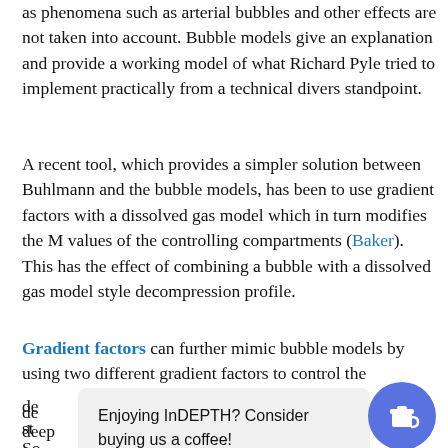as phenomena such as arterial bubbles and other effects are not taken into account. Bubble models give an explanation and provide a working model of what Richard Pyle tried to implement practically from a technical divers standpoint.
A recent tool, which provides a simpler solution between Buhlmann and the bubble models, has been to use gradient factors with a dissolved gas model which in turn modifies the M values of the controlling compartments (Baker). This has the effect of combining a bubble with a dissolved gas model style decompression profile.
Gradient factors can further mimic bubble models by using two different gradient factors to control the de[…]e deep st[…] So[…]nonly used and[…]of 99%
[Figure (other): Toast/popup overlay with text 'Enjoying InDEPTH? Consider buying us a coffee!' and a circular blue coffee cup button icon on the right.]